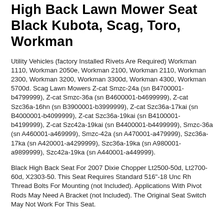High Back Lawn Mower Seat Black Kubota, Scag, Toro, Workman
Utility Vehicles (factory Installed Rivets Are Required) Workman 1110, Workman 2050e, Workman 2100, Workman 2110, Workman 2300, Workman 3200, Workman 3300d, Workman 4300, Workman 5700d. Scag Lawn Mowers Z-cat Smzc-24a (sn B4700001-b4799999), Z-cat Smzc-36a (sn B4600001-b4699999), Z-cat Szc36a-16hn (sn B3900001-b3999999), Z-cat Szc36a-17kai (sn B4000001-b4099999), Z-cat Szc36a-19kai (sn B4100001-b4199999), Z-cat Szc42a-19kai (sn B4400001-b4499999), Smzc-36a (sn A460001-a469999), Smzc-42a (sn A470001-a479999), Szc36a-17ka (sn A420001-a4299999), Szc36a-19ka (sn A980001-a9899999), Szc42a-19ka (sn A440001-a449999).
Black High Back Seat For 2007 Dixie Chopper Lt2500-50d, Lt2700-60d, X2303-50. This Seat Requires Standard 516"-18 Unc Rh Thread Bolts For Mounting (not Included). Applications With Pivot Rods May Need A Bracket (not Included). The Original Seat Switch May Not Work For This Seat.